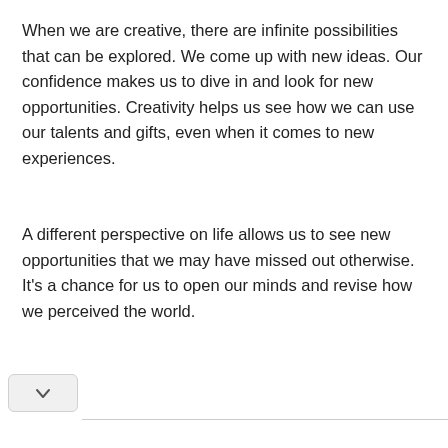When we are creative, there are infinite possibilities that can be explored. We come up with new ideas. Our confidence makes us to dive in and look for new opportunities. Creativity helps us see how we can use our talents and gifts, even when it comes to new experiences.
A different perspective on life allows us to see new opportunities that we may have missed out otherwise. It's a chance for us to open our minds and revise how we perceived the world.